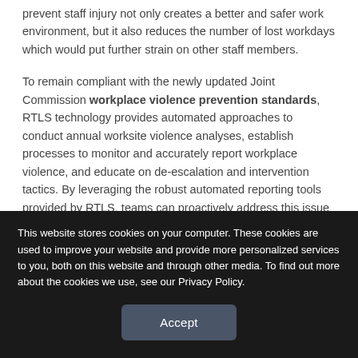prevent staff injury not only creates a better and safer work environment, but it also reduces the number of lost workdays which would put further strain on other staff members.
To remain compliant with the newly updated Joint Commission workplace violence prevention standards, RTLS technology provides automated approaches to conduct annual worksite violence analyses, establish processes to monitor and accurately report workplace violence, and educate on de-escalation and intervention tactics. By leveraging the robust automated reporting tools provided by RTLS, teams can proactively address this issue and reduce incidents.
This website stores cookies on your computer. These cookies are used to improve your website and provide more personalized services to you, both on this website and through other media. To find out more about the cookies we use, see our Privacy Policy.